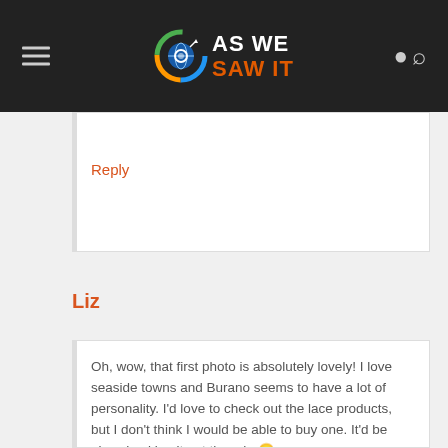AS WE SAW IT
Reply
Liz
Oh, wow, that first photo is absolutely lovely! I love seaside towns and Burano seems to have a lot of personality. I’d love to check out the lace products, but I don’t think I would be able to buy one. It’d be nice checking it out though. 🙂